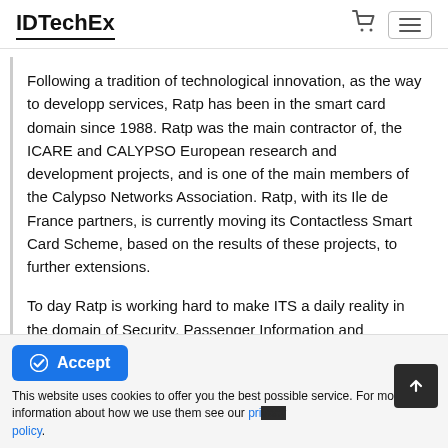IDTechEx
Following a tradition of technological innovation, as the way to developp services, Ratp has been in the smart card domain since 1988. Ratp was the main contractor of, the ICARE and CALYPSO European research and development projects, and is one of the main members of the Calypso Networks Association. Ratp, with its Ile de France partners, is currently moving its Contactless Smart Card Scheme, based on the results of these projects, to further extensions.
To day Ratp is working hard to make ITS a daily reality in the domain of Security, Passenger Information and
Accept
This website uses cookies to offer you the best possible service. For more information about how we use them see our privacy policy.